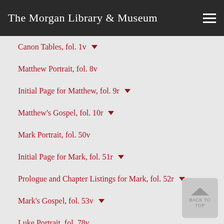The Morgan Library & Museum
Canon Tables, fol. 1v
Matthew Portrait, fol. 8v
Initial Page for Matthew, fol. 9r
Matthew's Gospel, fol. 10r
Mark Portrait, fol. 50v
Initial Page for Mark, fol. 51r
Prologue and Chapter Listings for Mark, fol. 52r
Mark's Gospel, fol. 53v
Luke Portrait, fol. 78v
Initial Page for Luke, fol. 79r